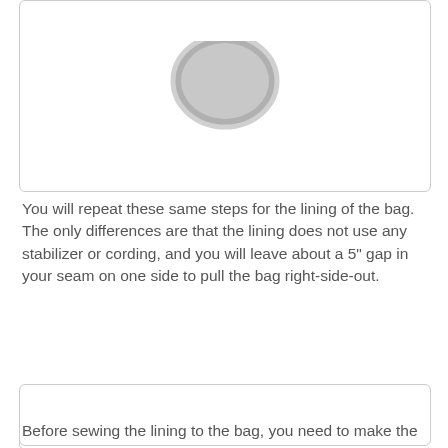[Figure (photo): Image placeholder at top of page showing a grey oval/circle icon on white background, with a bordered box.]
You will repeat these same steps for the lining of the bag. The only differences are that the lining does not use any stabilizer or cording, and you will leave about a 5" gap in your seam on one side to pull the bag right-side-out.
[Figure (photo): Image placeholder showing a grey oval with a white horizontal rectangle (minus/prohibited icon) centered inside, on white background, with a bordered box.]
Before sewing the lining to the bag, you need to make the